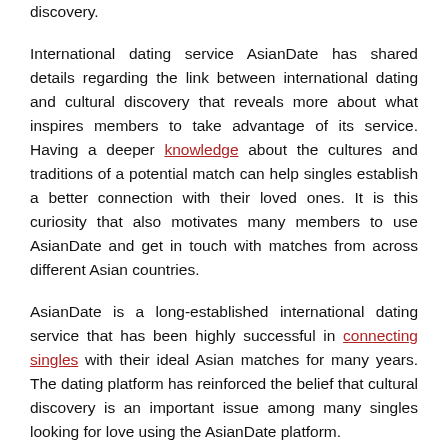discovery.
International dating service AsianDate has shared details regarding the link between international dating and cultural discovery that reveals more about what inspires members to take advantage of its service. Having a deeper knowledge about the cultures and traditions of a potential match can help singles establish a better connection with their loved ones. It is this curiosity that also motivates many members to use AsianDate and get in touch with matches from across different Asian countries.
AsianDate is a long-established international dating service that has been highly successful in connecting singles with their ideal Asian matches for many years. The dating platform has reinforced the belief that cultural discovery is an important issue among many singles looking for love using the AsianDate platform.
Many members who join AsianDate show a keen interest in knowing more about the customs, traditions, and culture